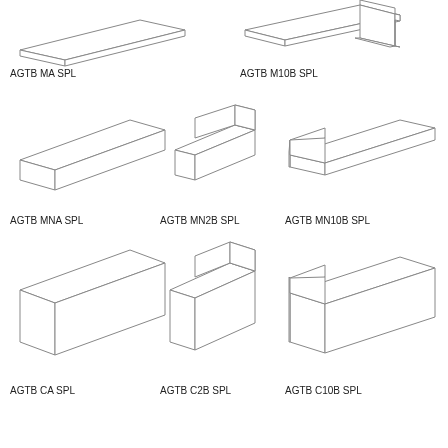[Figure (illustration): Isometric drawing of a thin flat strip/plank profile - AGTB MA SPL]
AGTB MA SPL
[Figure (illustration): Isometric drawing of an L-shaped angle profile - AGTB M10B SPL]
AGTB M10B SPL
[Figure (illustration): Isometric drawing of a rectangular flat plank - AGTB MNA SPL]
AGTB MNA SPL
[Figure (illustration): Isometric drawing of a small corner/angle piece - AGTB MN2B SPL]
AGTB MN2B SPL
[Figure (illustration): Isometric drawing of an L-shaped elongated profile - AGTB MN10B SPL]
AGTB MN10B SPL
[Figure (illustration): Isometric drawing of a thick rectangular tile/slab - AGTB CA SPL]
AGTB CA SPL
[Figure (illustration): Isometric drawing of a small thick corner block - AGTB C2B SPL]
AGTB C2B SPL
[Figure (illustration): Isometric drawing of a thick elongated L-shaped block - AGTB C10B SPL]
AGTB C10B SPL